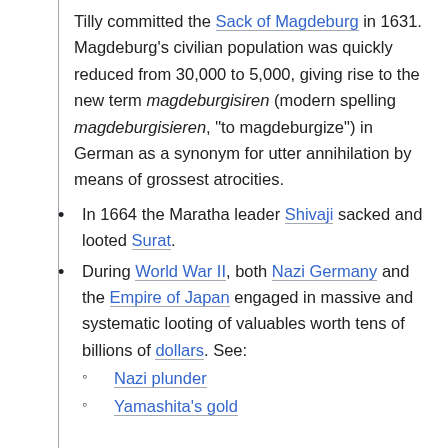Tilly committed the Sack of Magdeburg in 1631. Magdeburg's civilian population was quickly reduced from 30,000 to 5,000, giving rise to the new term magdeburgisiren (modern spelling magdeburgisieren, "to magdeburgize") in German as a synonym for utter annihilation by means of grossest atrocities.
In 1664 the Maratha leader Shivaji sacked and looted Surat.
During World War II, both Nazi Germany and the Empire of Japan engaged in massive and systematic looting of valuables worth tens of billions of dollars. See:
Nazi plunder
Yamashita's gold